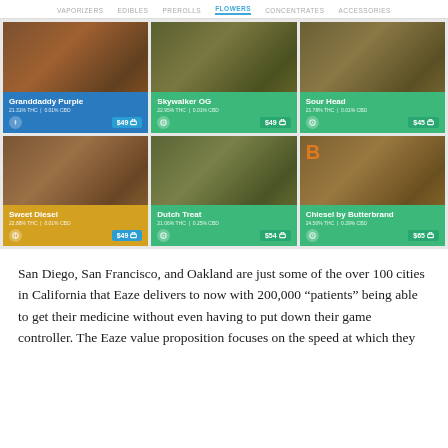VAPORIZERS   EDIBLES   PREROLLS   FLOWERS   CONCENTRATES   ACCESSORIES
[Figure (screenshot): Cannabis dispensary product grid showing 6 flower products: Granddaddy Purple (21.31% THC | 0.01% CBD, $49), Skywalker OG (22.95% THC | 0.01% CBD, $49), Sour Head (21.78% THC | 0.01% CBD, $45), Sweet Diesel (22.88% THC | 0.01% CBD, $49), Dutch Treat (21.06% THC | 0.25% CBD, $54), Chiesel by Butterbrand (24.50% THC | 0.29% CBD, $65)]
San Diego, San Francisco, and Oakland are just some of the over 100 cities in California that Eaze delivers to now with 200,000 “patients” being able to get their medicine without even having to put down their game controller. The Eaze value proposition focuses on the speed at which they